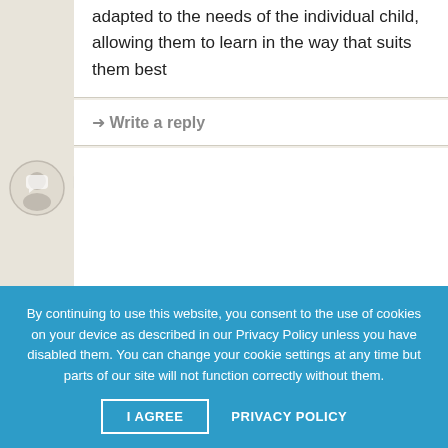adapted to the needs of the individual child, allowing them to learn in the way that suits them best
→ Write a reply
Igor · June 30th, 2021 · 🔗
Karen Melchior this. 100% agree.I continue to be happy I voted for you for MEP.
Marianne · June 30th, 2021 · 🔗
By continuing to use this website, you consent to the use of cookies on your device as described in our Privacy Policy unless you have disabled them. You can change your cookie settings at any time but parts of our site will not function correctly without them.
I AGREE   PRIVACY POLICY